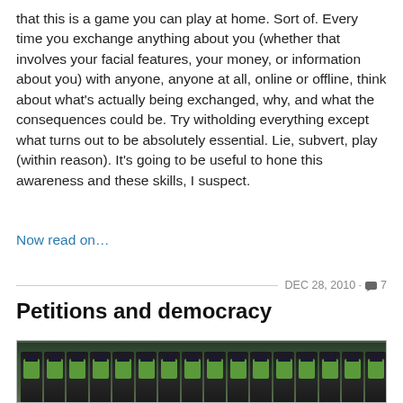that this is a game you can play at home. Sort of. Every time you exchange anything about you (whether that involves your facial features, your money, or information about you) with anyone, anyone at all, online or offline, think about what's actually being exchanged, why, and what the consequences could be. Try witholding everything except what turns out to be absolutely essential. Lie, subvert, play (within reason). It's going to be useful to hone this awareness and these skills, I suspect.
Now read on…
DEC 28, 2010 · 7
Petitions and democracy
[Figure (photo): Photograph showing police officers in high-visibility vests lined up behind iron railings at the top of a stone wall, with people holding umbrellas (including a red one) visible below in the rain.]